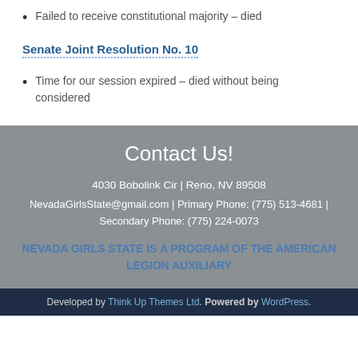Failed to receive constitutional majority – died
Senate Joint Resolution No. 10
Time for our session expired – died without being considered
Contact Us!
4030 Bobolink Cir | Reno, NV 89508
NevadaGirlsState@gmail.com | Primary Phone: (775) 513-4681 | Secondary Phone: (775) 224-0073
NEVADA GIRLS STATE IS A PROGRAM OF THE AMERICAN LEGION AUXILIARY
Developed by Think Up Themes Ltd. Powered by WordPress.